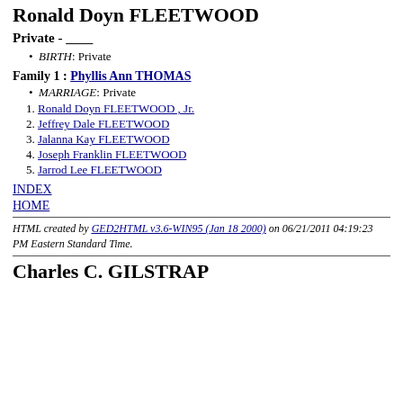Ronald Doyn FLEETWOOD
Private - ____
BIRTH: Private
Family 1 : Phyllis Ann THOMAS
MARRIAGE: Private
1. +Ronald Doyn FLEETWOOD , Jr.
2. +Jeffrey Dale FLEETWOOD
3. +Jalanna Kay FLEETWOOD
4.   Joseph Franklin FLEETWOOD
5.   Jarrod Lee FLEETWOOD
INDEX
HOME
HTML created by GED2HTML v3.6-WIN95 (Jan 18 2000) on 06/21/2011 04:19:23 PM Eastern Standard Time.
Charles C. GILSTRAP